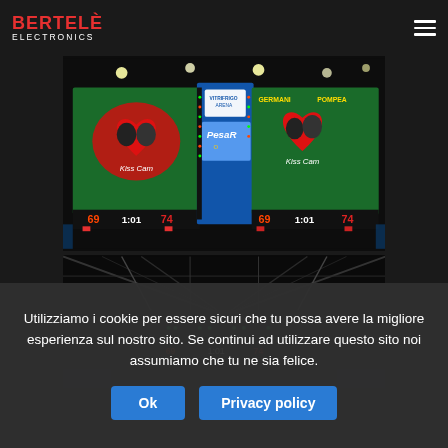BERTELÈ ELECTRONICS
[Figure (photo): Sports arena scoreboard (Vitrifrigo Arena, Pesaro) showing Kiss Cam display with heart-shaped overlay and score 69-74, time 1:01]
[Figure (photo): Interior view of a sports arena ceiling and suspended scoreboard display with LED panels]
Utilizziamo i cookie per essere sicuri che tu possa avere la migliore esperienza sul nostro sito. Se continui ad utilizzare questo sito noi assumiamo che tu ne sia felice.
Ok
Privacy policy